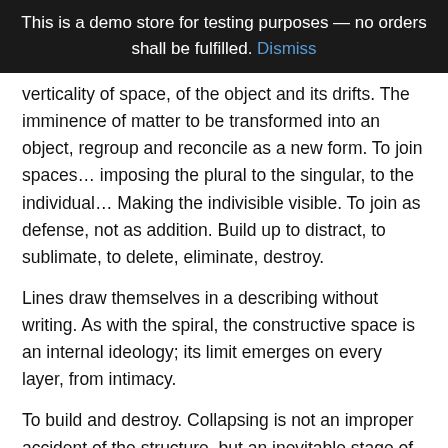This is a demo store for testing purposes — no orders shall be fulfilled. Dismiss
verticality of space, of the object and its drifts. The imminence of matter to be transformed into an object, regroup and reconcile as a new form. To join spaces… imposing the plural to the singular, to the individual… Making the indivisible visible. To join as defense, not as addition. Build up to distract, to sublimate, to delete, eliminate, destroy.
Lines draw themselves in a describing without writing. As with the spiral, the constructive space is an internal ideology; its limit emerges on every layer, from intimacy.
To build and destroy. Collapsing is not an improper accident of the structure, but an inevitable stage of